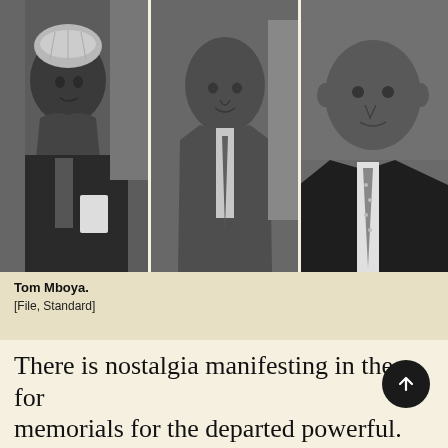[Figure (photo): Black and white triptych of three men. Left: man in suit and patterned cap holding papers. Center: man in suit and tie facing slightly to the right. Right: man in dark suit and patterned tie, formal portrait.]
Tom Mboya.
[File, Standard]
There is nostalgia manifesting in the form of memorials for the departed powerful. The